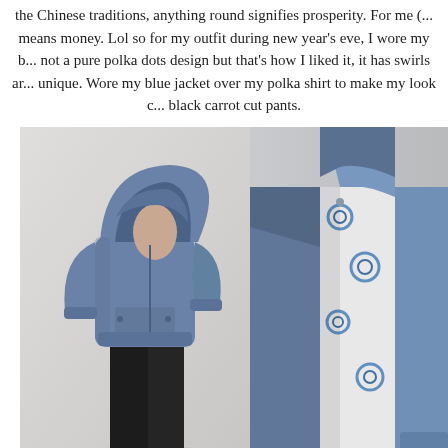the Chinese traditions, anything round signifies prosperity. For me (... means money. Lol so for my outfit during new year's eve, I wore my b... not a pure polka dots design but that's how I liked it, it has swirls ar... unique. Wore my blue jacket over my polka shirt to make my look c... black carrot cut pants.
[Figure (photo): Full-body side view of a young man wearing a blue hoodie with hood up and black carrot cut pants, standing against a light background]
[Figure (photo): Close-up view of a person wearing a blue zip-up jacket over a polka dot/swirl print shirt, cropped to torso]